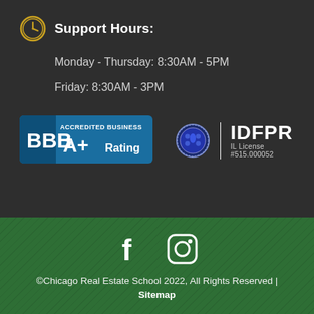Support Hours:
Monday - Thursday: 8:30AM - 5PM
Friday: 8:30AM - 3PM
[Figure (logo): BBB Accredited Business A+ Rating badge]
[Figure (logo): IDFPR Illinois License #515.000052 badge with seal]
[Figure (logo): Facebook and Instagram social media icons]
©Chicago Real Estate School 2022, All Rights Reserved | Sitemap